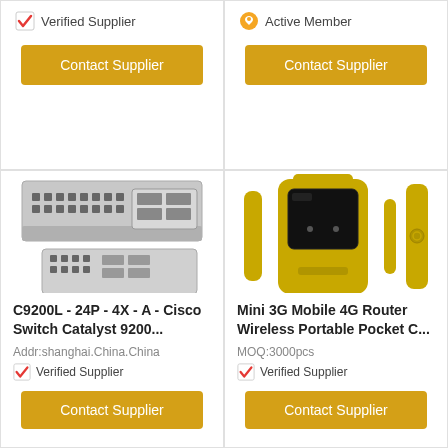Verified Supplier
Contact Supplier
Active Member
Contact Supplier
[Figure (photo): Network switch hardware - Cisco Catalyst 9200 series switch showing front and rear ports]
C9200L - 24P - 4X - A - Cisco Switch Catalyst 9200...
Addr:shanghai.China.China
Verified Supplier
Contact Supplier
[Figure (photo): Mini 3G Mobile 4G Router - yellow portable pocket WiFi device shown from multiple angles]
Mini 3G Mobile 4G Router Wireless Portable Pocket C...
MOQ:3000pcs
Verified Supplier
Contact Supplier